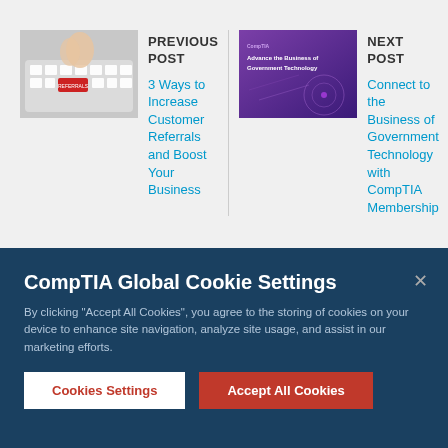[Figure (photo): Photo of hands on keyboard with a red referrals key, representing previous post thumbnail]
PREVIOUS POST
3 Ways to Increase Customer Referrals and Boost Your Business
[Figure (photo): Purple promotional banner for CompTIA with text: Advance the Business of Government Technology]
NEXT POST
Connect to the Business of Government Technology with CompTIA Membership
CompTIA Global Cookie Settings
By clicking “Accept All Cookies”, you agree to the storing of cookies on your device to enhance site navigation, analyze site usage, and assist in our marketing efforts.
Cookies Settings
Accept All Cookies